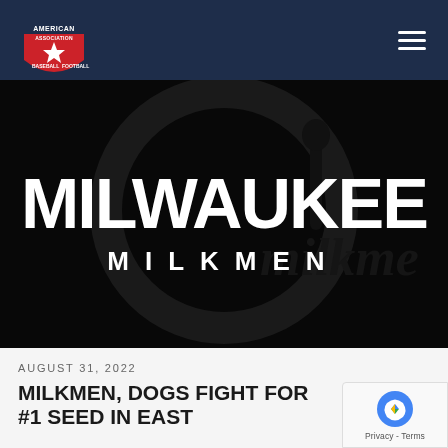American Association logo and navigation bar
[Figure (logo): Milwaukee Milkmen team logo on black background with large white block letters reading MILWAUKEE and MILKMEN below]
AUGUST 31, 2022
MILKMEN, DOGS FIGHT FOR #1 SEED IN EAST